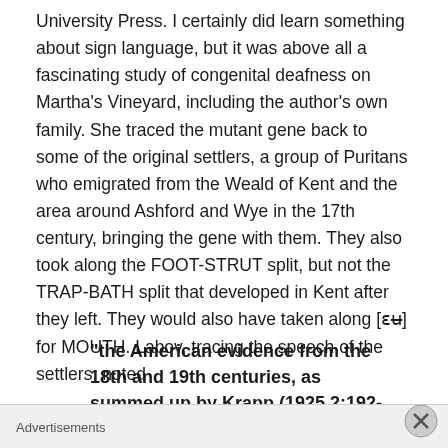University Press. I certainly did learn something about sign language, but it was above all a fascinating study of congenital deafness on Martha's Vineyard, including the author's own family. She traced the mutant gene back to some of the original settlers, a group of Puritans who emigrated from the Weald of Kent and the area around Ashford and Wye in the 17th century, bringing the gene with them. They also took along the FOOT-STRUT split, but not the TRAP-BATH split that developed in Kent after they left. They would also have taken along [ɛʉ] for MOUTH. Labov, tracing the speech of the settlers, noted
“the American evidence from the 18th and 19th centuries, as summed up by Krapp (1925 2:192-9…
Advertisements